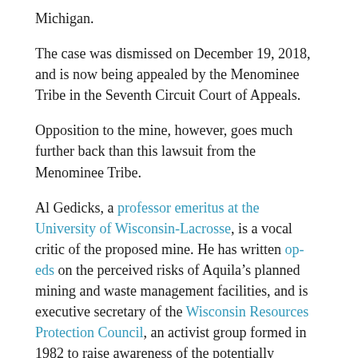Michigan.
The case was dismissed on December 19, 2018, and is now being appealed by the Menominee Tribe in the Seventh Circuit Court of Appeals.
Opposition to the mine, however, goes much further back than this lawsuit from the Menominee Tribe.
Al Gedicks, a professor emeritus at the University of Wisconsin-Lacrosse, is a vocal critic of the proposed mine. He has written op-eds on the perceived risks of Aquila’s planned mining and waste management facilities, and is executive secretary of the Wisconsin Resources Protection Council, an activist group formed in 1982 to raise awareness of the potentially negative effects of metallic sulfide mining.
“This project is located on the land of a sovereign nation, the Menominee Indian Tribe of Wisconsin,